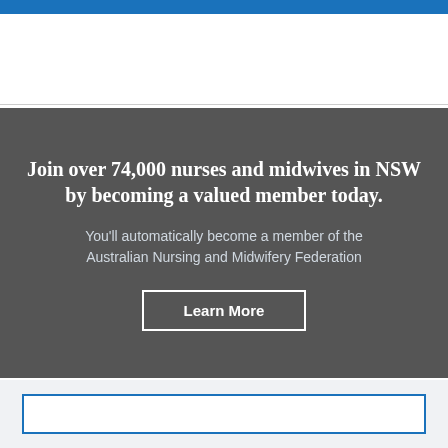Join over 74,000 nurses and midwives in NSW by becoming a valued member today.
You'll automatically become a member of the Australian Nursing and Midwifery Federation
Learn More